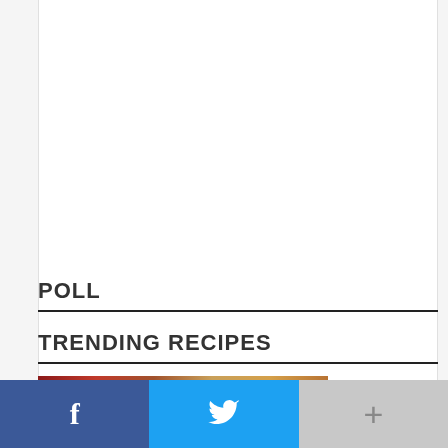POLL
TRENDING RECIPES
[Figure (photo): Food image showing Old-Fashioned recipe with warm brownish-red tones and a logo badge in the corner. Text overlay reads 'Old-Fashioned'.]
[Figure (infographic): Social media sharing bar at the bottom with three buttons: Facebook (blue, f icon), Twitter (cyan, bird icon), and a More button (gray, plus icon).]